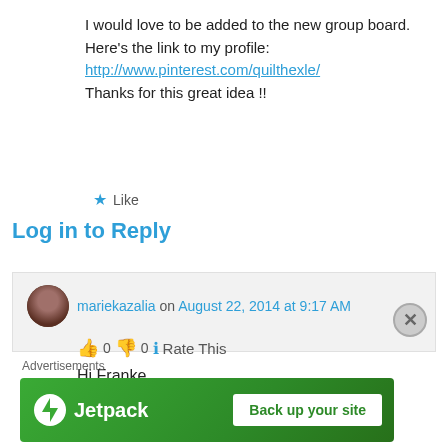I would love to be added to the new group board. Here's the link to my profile:
http://www.pinterest.com/quilthexle/
Thanks for this great idea !!
★ Like
Log in to Reply
mariekazalia on August 22, 2014 at 9:17 AM
👍 0 👎 0 ℹ Rate This
Hi Franke
Advertisements
[Figure (screenshot): Jetpack advertisement banner with logo and 'Back up your site' button on green background]